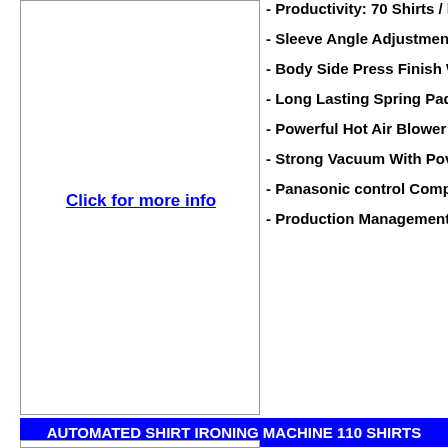[Figure (other): Empty image box on the left with a 'Click for more info' hyperlink in the center]
- Productivity: 70 Shirts / h
- Sleeve Angle Adjustment
- Body Side Press Finish W
- Long Lasting Spring Pad
- Powerful Hot Air Blower
- Strong Vacuum With Pow
- Panasonic control Compu
- Production Management
AUTOMATED SHIRT IRONING MACHINE 110 SHIRTS